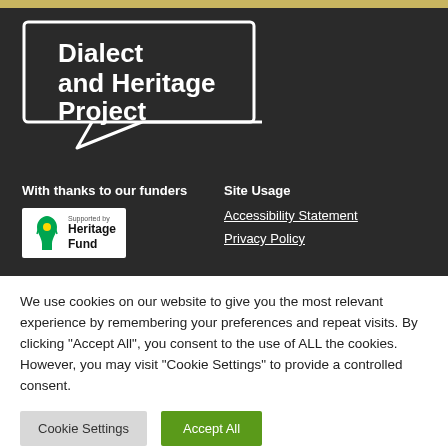[Figure (logo): Dialect and Heritage Project logo - white speech bubble outline with text inside on dark background]
With thanks to our funders
Site Usage
[Figure (logo): National Lottery Heritage Fund logo on white background]
Accessibility Statement
Privacy Policy
We use cookies on our website to give you the most relevant experience by remembering your preferences and repeat visits. By clicking “Accept All”, you consent to the use of ALL the cookies. However, you may visit “Cookie Settings” to provide a controlled consent.
Cookie Settings
Accept All